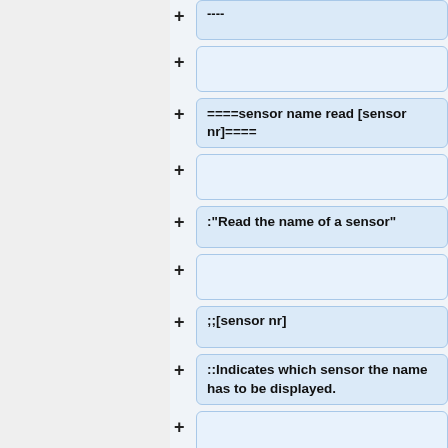----
====sensor name read [sensor nr]====
:"Read the name of a sensor"
;[sensor nr]
::Indicates which sensor the name has to be displayed.